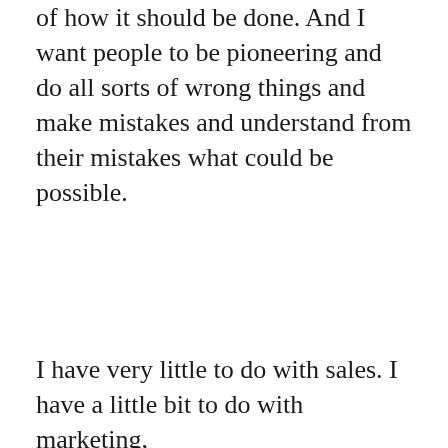of how it should be done. And I want people to be pioneering and do all sorts of wrong things and make mistakes and understand from their mistakes what could be possible.
I have very little to do with sales. I have a little bit to do with marketing,